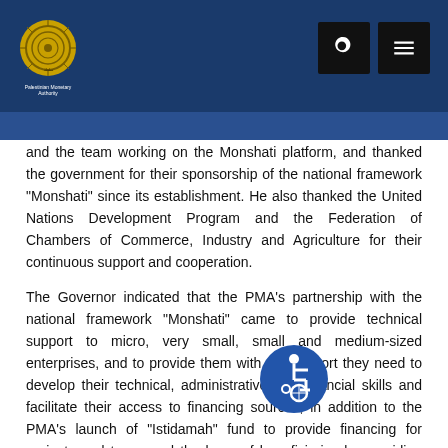Palestinian Monetary Authority website header with logo, search and menu buttons
and the team working on the Monshati platform, and thanked the government for their sponsorship of the national framework "Monshati" since its establishment. He also thanked the United Nations Development Program and the Federation of Chambers of Commerce, Industry and Agriculture for their continuous support and cooperation.
The Governor indicated that the PMA's partnership with the national framework "Monshati" came to provide technical support to micro, very small, small and medium-sized enterprises, and to provide them with the support they need to develop their technical, administrative and financial skills and facilitate their access to financing sources, in addition to the PMA's launch of "Istidamah" fund to provide financing for projects and to expand the base of beneficiaries by providing soft financing programs, especially the micro-enterprise financing program at zero cost, to contribute to the support and development of this sector, and to enhance its role in economic development.
[Figure (illustration): Blue circular accessibility icon showing a person in a wheelchair, positioned overlapping the second paragraph]